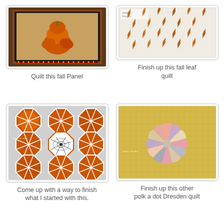[Figure (photo): Fall pumpkin quilt panel with orange pumpkins and decorative border]
Quilt this fall Panel
[Figure (photo): Fall leaf quilt with orange and brown leaves on white background]
Finish up this fall leaf quilt
[Figure (photo): Orange and white geometric quilt pattern with spiderweb center]
Come up with a way to finish
what I started with this.
[Figure (photo): Colorful fabric Dresden plate quilt pieces arranged in a circle on yellow grid background]
Finish up this other polk a dot Dresden quilt